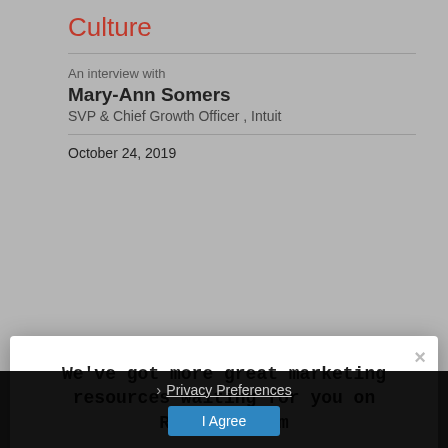Culture
An interview with
Mary-Ann Somers
SVP & Chief Growth Officer , Intuit
October 24, 2019
[Figure (screenshot): Modal popup overlay with text 'We've got more great marketing resources waiting for you on Renegade.com', subtitle 'Click to check out the blog', and an orange button 'Go to Renegade.com'. A close X appears top right.]
Corneliu Vilsan
Director of Marketing, Americas & LATAM , Henner Huard
October 17, 2019
Privacy Preferences
I Agree